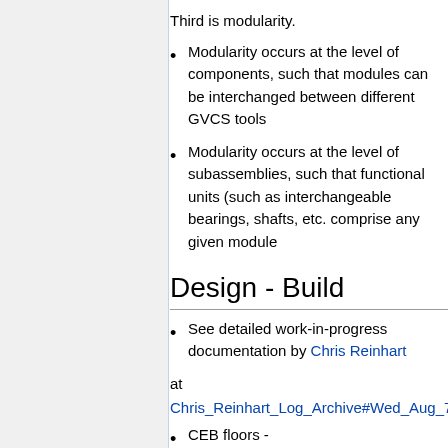Third is modularity.
Modularity occurs at the level of components, such that modules can be interchanged between different GVCS tools
Modularity occurs at the level of subassemblies, such that functional units (such as interchangeable bearings, shafts, etc. comprise any given module
Design - Build
See detailed work-in-progress documentation by Chris Reinhart at Chris_Reinhart_Log_Archive#Wed_Aug_7.2
CEB floors - https://m.youtube.com/watch?